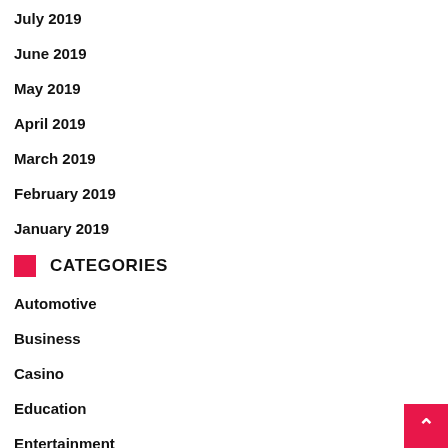July 2019
June 2019
May 2019
April 2019
March 2019
February 2019
January 2019
CATEGORIES
Automotive
Business
Casino
Education
Entertainment
Featured
Finance